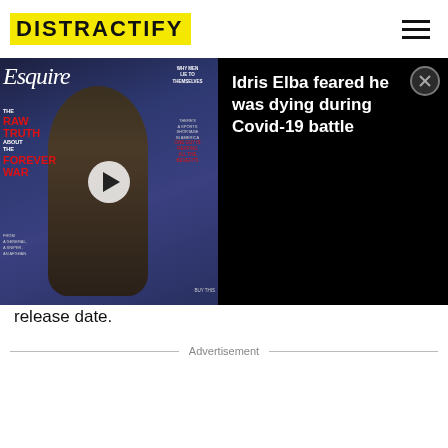DISTRACTIFY
[Figure (screenshot): Esquire magazine cover featuring a man on the cover with text: Esquire, WHY MEN LIE TO THEMSELVES, THE RAW TRUTH ABOUT THE FOREVER WAR, with a play button overlay indicating a video player]
Idris Elba feared he was dying during Covid-19 battle
release date.
Advertisement